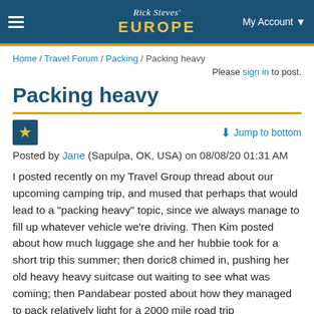Rick Steves' EUROPE | My Account
Home / Travel Forum / Packing / Packing heavy
Please sign in to post.
Packing heavy
↓ Jump to bottom
Posted by Jane (Sapulpa, OK, USA) on 08/08/20 01:31 AM
I posted recently on my Travel Group thread about our upcoming camping trip, and mused that perhaps that would lead to a "packing heavy" topic, since we always manage to fill up whatever vehicle we're driving. Then Kim posted about how much luggage she and her hubbie took for a short trip this summer; then doric8 chimed in, pushing her old heavy heavy suitcase out waiting to see what was coming; then Pandabear posted about how they managed to pack relatively light for a 2000 mile road trip https://community.ricksteves.com/travel-